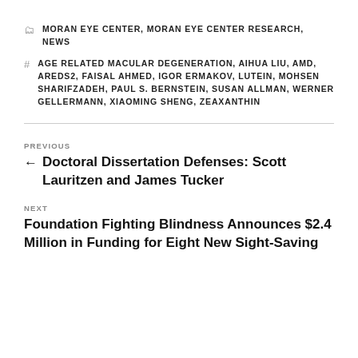MORAN EYE CENTER, MORAN EYE CENTER RESEARCH, NEWS
AGE RELATED MACULAR DEGENERATION, AIHUA LIU, AMD, AREDS2, FAISAL AHMED, IGOR ERMAKOV, LUTEIN, MOHSEN SHARIFZADEH, PAUL S. BERNSTEIN, SUSAN ALLMAN, WERNER GELLERMANN, XIAOMING SHENG, ZEAXANTHIN
PREVIOUS
← Doctoral Dissertation Defenses: Scott Lauritzen and James Tucker
NEXT
Foundation Fighting Blindness Announces $2.4 Million in Funding for Eight New Sight-Saving